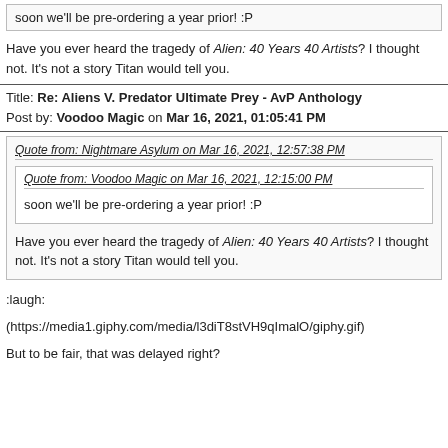soon we'll be pre-ordering a year prior!  :P
Have you ever heard the tragedy of Alien: 40 Years 40 Artists? I thought not. It's not a story Titan would tell you.
Title: Re: Aliens V. Predator Ultimate Prey - AvP Anthology
Post by: Voodoo Magic on Mar 16, 2021, 01:05:41 PM
Quote from: Nightmare Asylum on Mar 16, 2021, 12:57:38 PM
Quote from: Voodoo Magic on Mar 16, 2021, 12:15:00 PM
soon we'll be pre-ordering a year prior!  :P
Have you ever heard the tragedy of Alien: 40 Years 40 Artists? I thought not. It's not a story Titan would tell you.
:laugh:
(https://media1.giphy.com/media/l3diT8stVH9qImalO/giphy.gif)
But to be fair, that was delayed right?